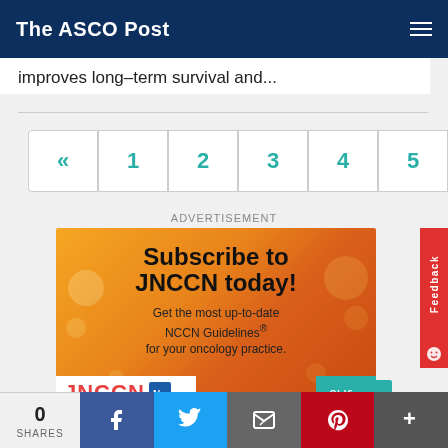The ASCO Post
improves long–term survival and...
« 1 2 3 4 5 »
ADVERTISEMENT
[Figure (infographic): Advertisement banner for JNCCN subscription. Orange gradient background with text: Subscribe to JNCCN today! Get the most up-to-date NCCN Guidelines® for your oncology practice. JNCCN logo in red at bottom left on white background.]
0 SHARES